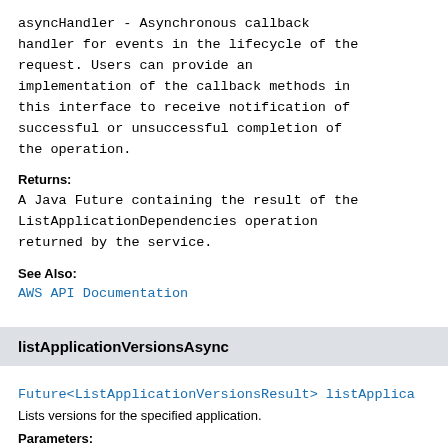asyncHandler - Asynchronous callback handler for events in the lifecycle of the request. Users can provide an implementation of the callback methods in this interface to receive notification of successful or unsuccessful completion of the operation.
Returns:
A Java Future containing the result of the ListApplicationDependencies operation returned by the service.
See Also:
AWS API Documentation
listApplicationVersionsAsync
Future<ListApplicationVersionsResult> listApplica
Lists versions for the specified application.
Parameters: